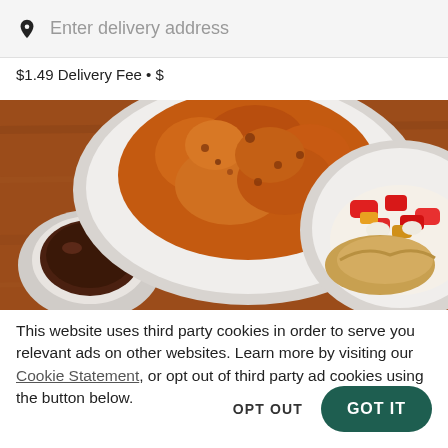Enter delivery address
$1.49 Delivery Fee • $
[Figure (photo): Overhead shot of Asian food dishes on a wooden table: crispy fried chicken on a white plate, a small bowl of dark dipping sauce, and a dish with red pepper and vegetable stir-fry.]
This website uses third party cookies in order to serve you relevant ads on other websites. Learn more by visiting our Cookie Statement, or opt out of third party ad cookies using the button below.
OPT OUT
GOT IT